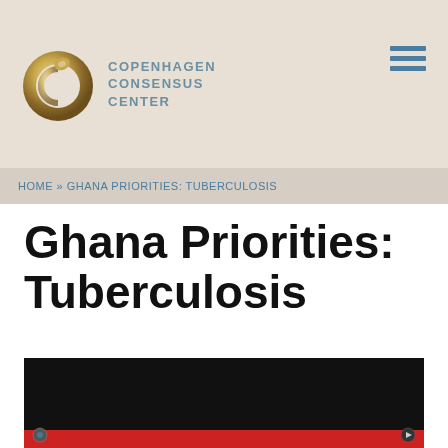[Figure (logo): Copenhagen Consensus Center logo with circular C graphic and teal text]
HOME » GHANA PRIORITIES: TUBERCULOSIS
Ghana Priorities: Tuberculosis
[Figure (screenshot): Video thumbnail showing a dark/black background with a red bar at the bottom, partial video player controls visible]